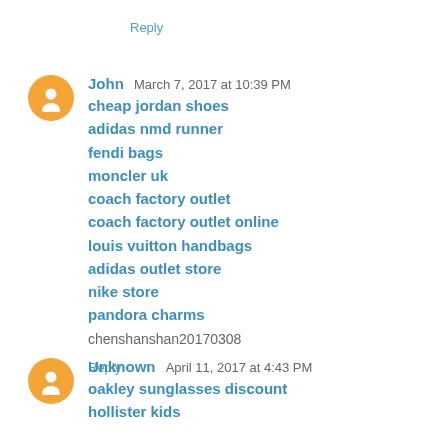Reply
John  March 7, 2017 at 10:39 PM
cheap jordan shoes
adidas nmd runner
fendi bags
moncler uk
coach factory outlet
coach factory outlet online
louis vuitton handbags
adidas outlet store
nike store
pandora charms
chenshanshan20170308
Reply
Unknown  April 11, 2017 at 4:43 PM
oakley sunglasses discount
hollister kids